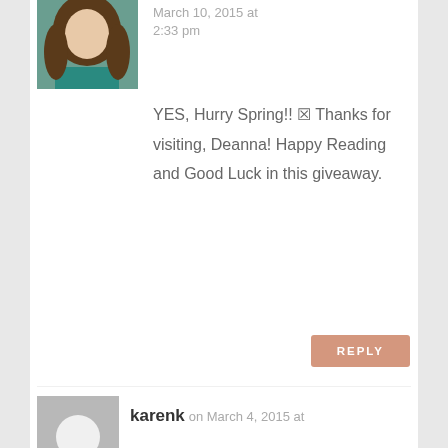[Figure (photo): Avatar photo of a woman with long brown hair wearing a teal top]
March 10, 2015 at 2:33 pm
YES, Hurry Spring!! ▨ Thanks for visiting, Deanna! Happy Reading and Good Luck in this giveaway.
REPLY
[Figure (photo): Default gray avatar with white circle silhouette]
karenk on March 4, 2015 at